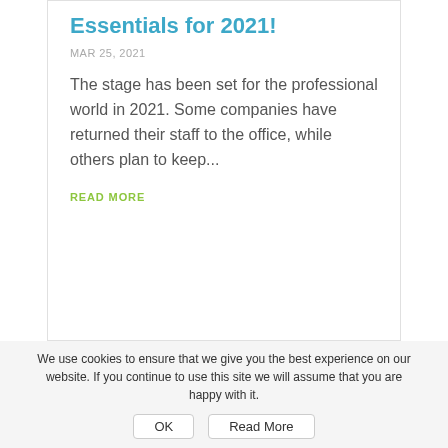Essentials for 2021!
MAR 25, 2021
The stage has been set for the professional world in 2021. Some companies have returned their staff to the office, while others plan to keep...
READ MORE
We use cookies to ensure that we give you the best experience on our website. If you continue to use this site we will assume that you are happy with it.
OK    Read More